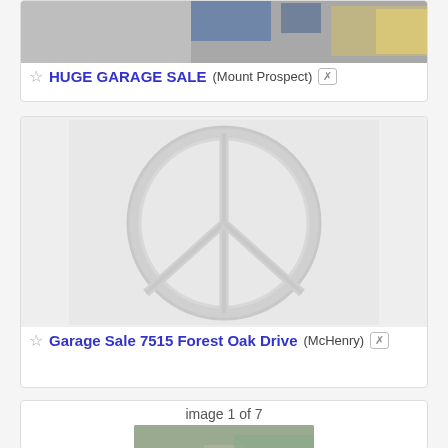[Figure (photo): Top portion of a photo showing items on a gray surface, partially cropped]
☆ HUGE GARAGE SALE (Mount Prospect) [x]
[Figure (photo): Light gray embossed peace sign symbol on white/light background]
☆ Garage Sale 7515 Forest Oak Drive (McHenry) [x]
image 1 of 7
[Figure (photo): Outdoor garage sale scene showing items and a sidewalk/driveway]